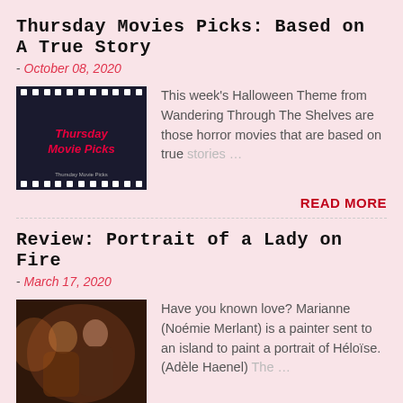Thursday Movies Picks: Based on A True Story
- October 08, 2020
[Figure (photo): Thursday Movie Picks film strip logo with red cursive text on dark background]
This week's Halloween Theme from Wandering Through The Shelves are those horror movies that are based on true stories …
READ MORE
Review: Portrait of a Lady on Fire
- March 17, 2020
[Figure (photo): Two women close together in warm amber lighting, movie still from Portrait of a Lady on Fire]
Have you known love? Marianne (Noémie Merlant) is a painter sent to an island to paint a portrait of Héloïse. (Adèle Haenel) The …
READ MORE